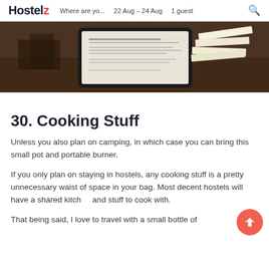Hostelz  Where are yo...  22 Aug - 24 Aug  1 guest
[Figure (photo): Photo of a tablet/e-reader on a wooden table with papers in the background]
30. Cooking Stuff
Unless you also plan on camping, in which case you can bring this small pot and portable burner.
If you only plan on staying in hostels, any cooking stuff is a pretty unnecessary waist of space in your bag. Most decent hostels will have a shared kitchen and stuff to cook with.
That being said, I love to travel with a small bottle of